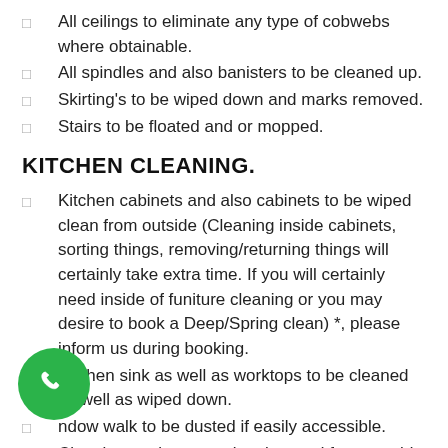All ceilings to eliminate any type of cobwebs where obtainable.
All spindles and also banisters to be cleaned up.
Skirting's to be wiped down and marks removed.
Stairs to be floated and or mopped.
KITCHEN CLEANING.
Kitchen cabinets and also cabinets to be wiped clean from outside (Cleaning inside cabinets, sorting things, removing/returning things will certainly take extra time. If you will certainly need inside of funiture cleaning or you may desire to book a Deep/Spring clean) *, please inform us during booking.
Kitchen sink as well as worktops to be cleaned as well as wiped down.
Window walk to be dusted if easily accessible.
Cleaning equipment to be cleansed from outside